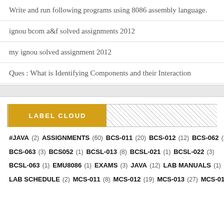Write and run following programs using 8086 assembly language.
ignou bcom a&f solved assignments 2012
my ignou solved assignment 2012
Ques : What is Identifying Components and their Interaction
LABEL CLOUD
#JAVA (2)  ASSIGNMENTS (60)  BCS-011 (20)  BCS-012 (12)  BCS-062 (2)  BCS-063 (3)  BCS052 (1)  BCSL-013 (8)  BCSL-021 (1)  BCSL-022 (3)  BCSL-063 (1)  EMU8086 (1)  EXAMS (3)  JAVA (12)  LAB MANUALS (1)  LAB SCHEDULE (2)  MCS-011 (8)  MCS-012 (19)  MCS-013 (27)  MCS-015 (17)